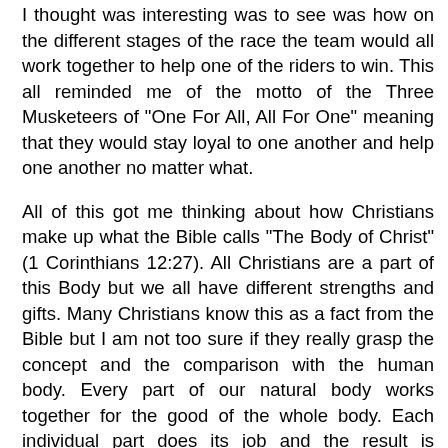I thought was interesting was to see was how on the different stages of the race the team would all work together to help one of the riders to win. This all reminded me of the motto of the Three Musketeers of "One For All, All For One" meaning that they would stay loyal to one another and help one another no matter what.
All of this got me thinking about how Christians make up what the Bible calls "The Body of Christ" (1 Corinthians 12:27). All Christians are a part of this Body but we all have different strengths and gifts. Many Christians know this as a fact from the Bible but I am not too sure if they really grasp the concept and the comparison with the human body. Every part of our natural body works together for the good of the whole body. Each individual part does its job and the result is success for all of the parts. What if every Christian realized the same thing was true for the Body of Christ?
Jesus said that people would know we were His disciples if we had love for one another (John 13:35) and the Bible also tells us that love does not insist on its own rights or its own way because it is not self seeking (1 Corinthians 13:5). We